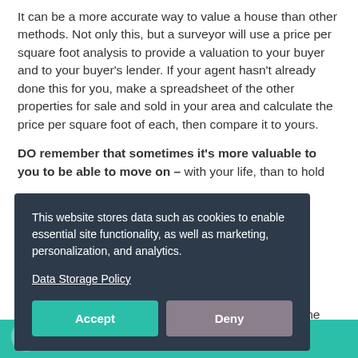It can be a more accurate way to value a house than other methods. Not only this, but a surveyor will use a price per square foot analysis to provide a valuation to your buyer and to your buyer's lender. If your agent hasn't already done this for you, make a spreadsheet of the other properties for sale and sold in your area and calculate the price per square foot of each, then compare it to yours.
DO remember that sometimes it's more valuable to you to be able to move on – with your life, than to hold ... few ... side, ...ersonal ...hay be time to start your ...lenging ...h us, we're
[Figure (other): Cookie consent overlay on a dark navy background. Contains text: 'This website stores data such as cookies to enable essential site functionality, as well as marketing, personalization, and analytics.' with a 'Data Storage Policy' link and two buttons: 'Accept' (teal) and 'Deny' (grey-purple).]
[Figure (other): Teal/green footer bar at the bottom of the page with a white loading spinner icon on the left.]